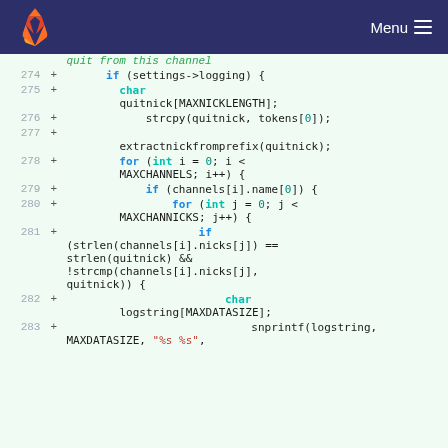GitLab — Menu
[Figure (screenshot): GitLab code diff view showing C source code lines 274-283 with added lines (green background). Code includes an if statement checking settings->logging, char declaration quitnick[MAXNICKLENGTH], strcpy call, extractnickfromprefix call, nested for loops over MAXCHANNELS and MAXCHANNICKS, if condition checking strlen and strcmp for channel nicks matching quit nick, char logstring[MAXDATASIZE] declaration, and snprintf call with MAXDATASIZE and format string "%s %s".]